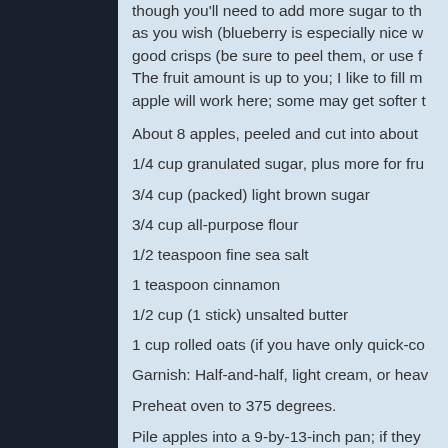though you'll need to add more sugar to the fruit as you wish (blueberry is especially nice w... good crisps (be sure to peel them, or use f... The fruit amount is up to you; I like to fill m... apple will work here; some may get softer t...
About 8 apples, peeled and cut into about
1/4 cup granulated sugar, plus more for fru
3/4 cup (packed) light brown sugar
3/4 cup all-purpose flour
1/2 teaspoon fine sea salt
1 teaspoon cinnamon
1/2 cup (1 stick) unsalted butter
1 cup rolled oats (if you have only quick-co
Garnish: Half-and-half, light cream, or heav
Preheat oven to 375 degrees.
Pile apples into a 9-by-13-inch pan; if they food processor, briefly whiz 1/4 cup sugar